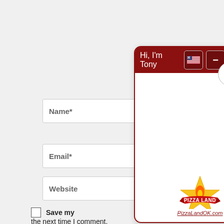Name*
Email*
Website
Save my
the next time I comment.
[Figure (screenshot): Chat widget with dark red header showing 'Hi, I'm Tony', US flag button, minimize button, close X circle button, and Pizza Land logo at bottom right with URL PizzaLandOK.com]